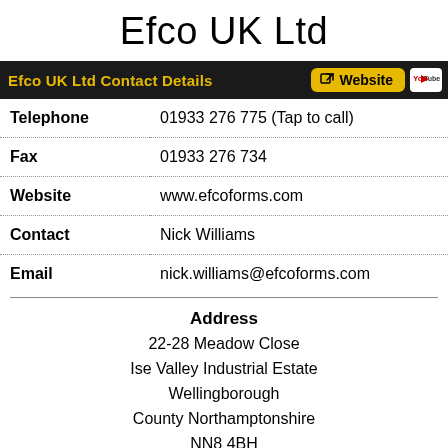Efco UK Ltd
Efco UK Ltd Contact Details
| Field | Value |
| --- | --- |
| Telephone | 01933 276 775 (Tap to call) |
| Fax | 01933 276 734 |
| Website | www.efcoforms.com |
| Contact | Nick Williams |
| Email | nick.williams@efcoforms.com |
Address
22-28 Meadow Close
Ise Valley Industrial Estate
Wellingborough
County Northamptonshire
NN8 4BH
England UK
Opening Hours